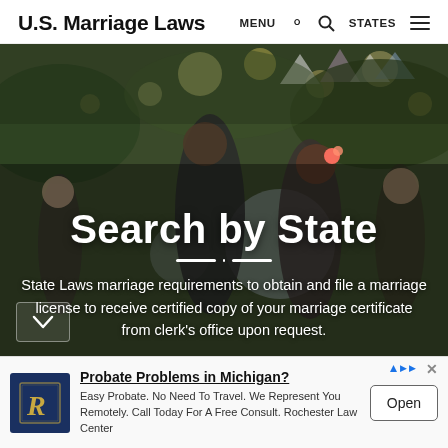U.S. Marriage Laws  MENU  STATES
[Figure (photo): Outdoor wedding or party scene with string lights, bokeh background, couple dancing, woman with flower in hair. Overlaid with hero text 'Search by State' and descriptive paragraph about state marriage laws.]
Search by State
State Laws marriage requirements to obtain and file a marriage license to receive certified copy of your marriage certificate from clerk's office upon request.
Probate Problems in Michigan? Easy Probate. No Need To Travel. We Represent You Remotely. Call Today For A Free Consult. Rochester Law Center
Open